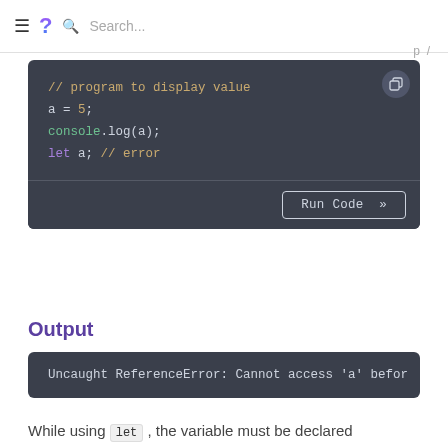≡ ? Search...
p /
[Figure (screenshot): Dark-themed code editor block showing JavaScript code: // program to display value, a = 5;, console.log(a);, let a; // error. Has a copy button in top-right corner and a Run Code >> button at the bottom.]
Output
[Figure (screenshot): Dark terminal output block showing: Uncaught ReferenceError: Cannot access 'a' befor (text cut off)]
While using let , the variable must be declared